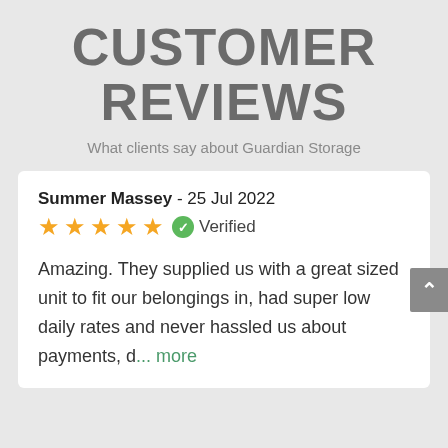CUSTOMER REVIEWS
What clients say about Guardian Storage
Summer Massey - 25 Jul 2022
★★★★★ ✓ Verified
Amazing. They supplied us with a great sized unit to fit our belongings in, had super low daily rates and never hassled us about payments, d... more